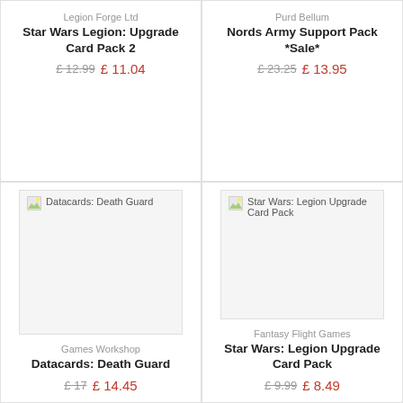Legion Forge Ltd
Star Wars Legion: Upgrade Card Pack 2
£12.99  £11.04
Purd Bellum
Nords Army Support Pack *Sale*
£23.25  £13.95
[Figure (photo): Broken image placeholder for Datacards: Death Guard]
Games Workshop
Datacards: Death Guard
£17  £14.45
[Figure (photo): Broken image placeholder for Star Wars: Legion Upgrade Card Pack]
Fantasy Flight Games
Star Wars: Legion Upgrade Card Pack
£9.99  £8.49